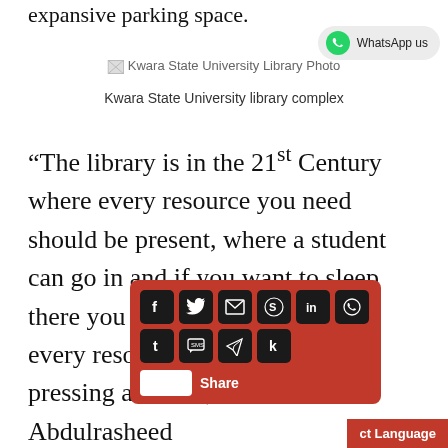expansive parking space.
[Figure (photo): Kwara State University Library Photo placeholder image]
Kwara State University library complex
“The library is in the 21st Century where every resource you need should be present, where a student can go in and if you want to sleep there you can keep working with every resource you need by just pressing a button,” said Professor Abdulrasheed Na’Allah, [Vice-Ch]ancellor of the Uni[versity]
[Figure (screenshot): Social media sharing overlay with icons for Facebook, Twitter, email, Reddit, LinkedIn, WhatsApp, Tumblr, SMS, Telegram, Klout, and a Share button]
[Figure (screenshot): WhatsApp us button in top right corner]
ct Language